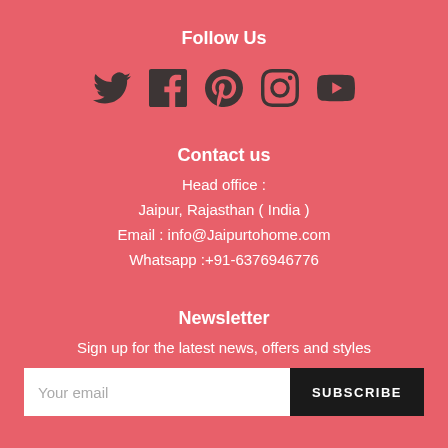Follow Us
[Figure (infographic): Social media icons: Twitter, Facebook, Pinterest, Instagram, YouTube]
Contact us
Head office :
Jaipur, Rajasthan ( India )
Email : info@Jaipurtohome.com
Whatsapp :+91-6376946776
Newsletter
Sign up for the latest news, offers and styles